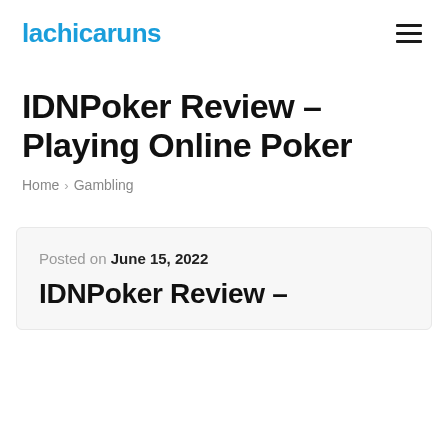lachicaruns
IDNPoker Review – Playing Online Poker
Home > Gambling
Posted on June 15, 2022
IDNPoker Review –